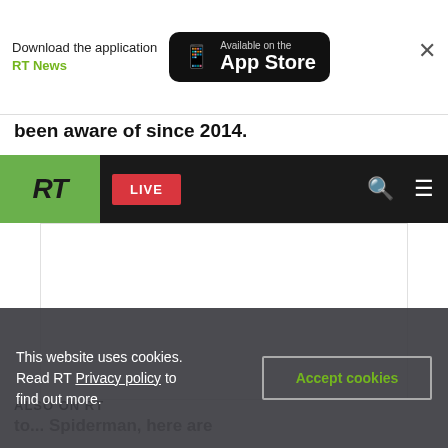[Figure (screenshot): App download banner with 'Download the application RT News' text and 'Available on the App Store' button with phone icon, and an X close button]
been aware of since 2014.
[Figure (screenshot): RT News website navigation bar with green RT logo, red LIVE button, search icon, and hamburger menu icon on black background]
[Figure (photo): White/blank image content area]
ALSO ON RT
This website uses cookies. Read RT Privacy policy to find out more.
Accept cookies
to... Spiderman, here are